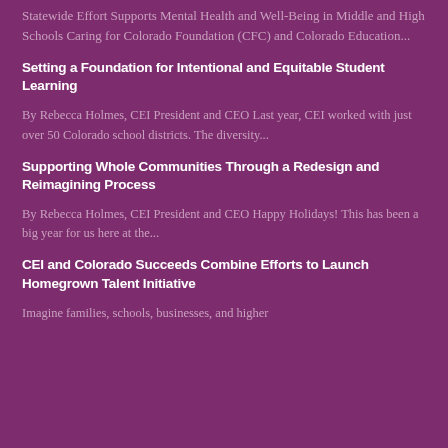Statewide Effort Supports Mental Health and Well-Being in Middle and High Schools Caring for Colorado Foundation (CFC) and Colorado Education...
Setting a Foundation for Intentional and Equitable Student Learning
By Rebecca Holmes, CEI President and CEO Last year, CEI worked with just over 50 Colorado school districts. The diversity...
Supporting Whole Communities Through a Redesign and Reimagining Process
By Rebecca Holmes, CEI President and CEO Happy Holidays!  This has been a big year for us here at the...
CEI and Colorado Succeeds Combine Efforts to Launch Homegrown Talent Initiative
Imagine families, schools, businesses, and higher